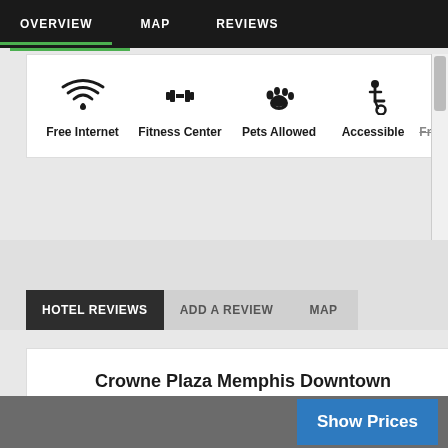OVERVIEW   MAP   REVIEWS
[Figure (screenshot): Hotel amenity icons: Free Internet (wifi), Fitness Center (dumbbell), Pets Allowed (paw print), Accessible (wheelchair), Free B (partially visible, struck through)]
HOTEL REVIEWS   ADD A REVIEW   MAP
Crowne Plaza Memphis Downtown an IHG Hotel Guest Reviews
Overall Average Score:  Pleasant (3.35 out